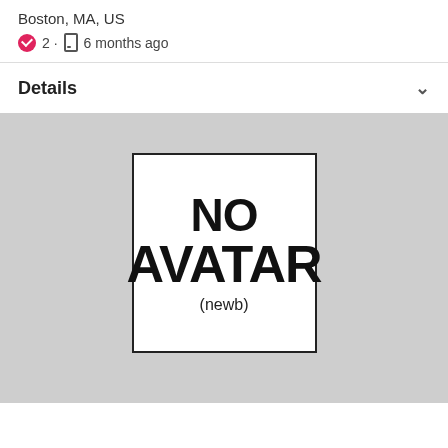Boston, MA, US
2 · 6 months ago
Details
[Figure (illustration): A placeholder avatar image with text 'NO AVATAR (newb)' on a white card with black border, set against a gray background.]